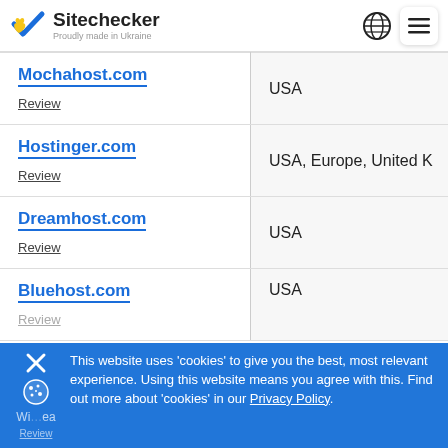Sitechecker — Proudly made in Ukraine
| Site | Location |
| --- | --- |
| Mochahost.com
Review | USA |
| Hostinger.com
Review | USA, Europe, United K |
| Dreamhost.com
Review | USA |
| Bluehost.com
Review | USA |
This website uses 'cookies' to give you the best, most relevant experience. Using this website means you agree with this. Find out more about 'cookies' in our Privacy Policy.